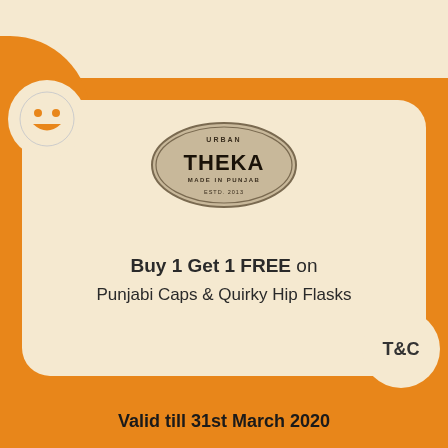[Figure (logo): Urban Theka logo - oval badge shape with text URBAN THEKA MADE IN PUNJAB ESTD. 2013]
[Figure (illustration): Smiley face icon in orange on cream circle]
Buy 1 Get 1 FREE on
Punjabi Caps & Quirky Hip Flasks
T&C
Valid till 31st March 2020